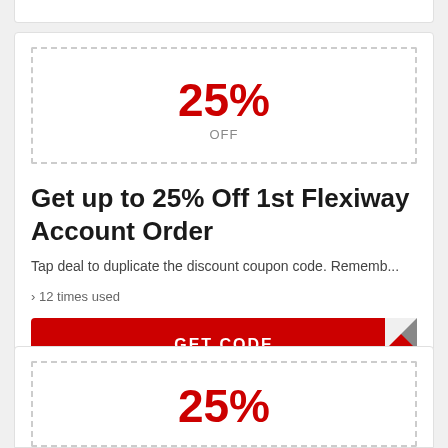[Figure (other): Coupon card showing 25% OFF with dashed border box]
Get up to 25% Off 1st Flexiway Account Order
Tap deal to duplicate the discount coupon code. Rememb...
› 12 times used
GET CODE
[Figure (other): Second coupon card showing 25% OFF (partial, cut off at bottom)]